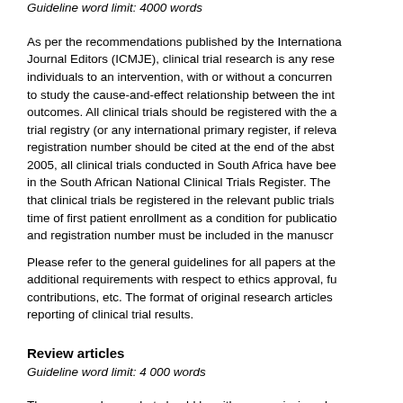Guideline word limit: 4000 words
As per the recommendations published by the International Committee of Medical Journal Editors (ICMJE), clinical trial research is any research that prospectively assigns individuals to an intervention, with or without a concurrent comparison or control group, to study the cause-and-effect relationship between the intervention and health outcomes. All clinical trials should be registered with the appropriate primary clinical trial registry (or any international primary register, if relevant), and the trial registration number should be cited at the end of the abstract. Since 2005, all clinical trials conducted in South Africa have been required to be registered in the South African National Clinical Trials Register. The SAMJ requires that clinical trials be registered in the relevant public trials registry prior to or at the time of first patient enrollment as a condition for publication. The registration date and registration number must be included in the manuscript.
Please refer to the general guidelines for all papers at the SAMJ website for additional requirements with respect to ethics approval, funding, author contributions, etc. The format of original research articles should follow the CONSORT reporting of clinical trial results.
Review articles
Guideline word limit: 4 000 words
These are welcome, but should be either commissioned or discussed with the Editor before submission. A review article should provide a comprehensive overview of the topic and be aimed at non-specialist hospital doctors and general practitioners.
Please ensure that your article includes: